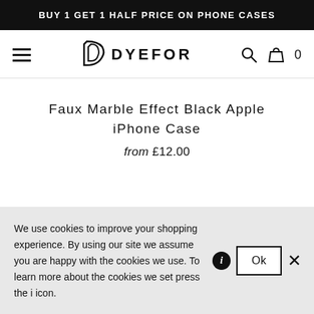BUY 1 GET 1 HALF PRICE ON PHONE CASES
[Figure (logo): Dyefor logo with stylized D icon and DYEFOR wordmark, plus hamburger menu, search, and bag icons]
Faux Marble Effect Black Apple iPhone Case
from £12.00
We use cookies to improve your shopping experience. By using our site we assume you are happy with the cookies we use. To learn more about the cookies we set press the i icon.